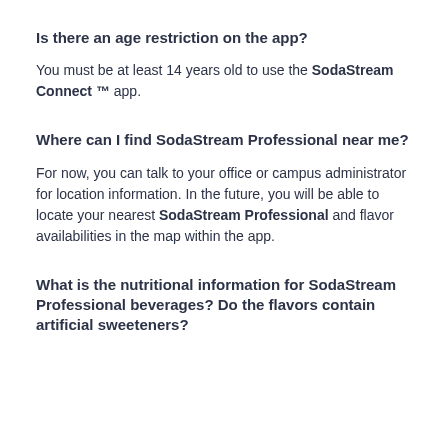Is there an age restriction on the app?
You must be at least 14 years old to use the SodaStream Connect ™ app.
Where can I find SodaStream Professional near me?
For now, you can talk to your office or campus administrator for location information. In the future, you will be able to locate your nearest SodaStream Professional and flavor availabilities in the map within the app.
What is the nutritional information for SodaStream Professional beverages? Do the flavors contain artificial sweeteners?